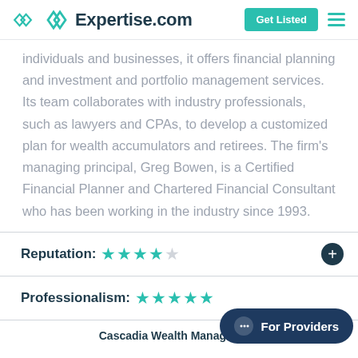Expertise.com
individuals and businesses, it offers financial planning and investment and portfolio management services. Its team collaborates with industry professionals, such as lawyers and CPAs, to develop a customized plan for wealth accumulators and retirees. The firm's managing principal, Greg Bowen, is a Certified Financial Planner and Chartered Financial Consultant who has been working in the industry since 1993.
Reputation: ★★★★☆
Professionalism: ★★★★★
Cascadia Wealth Management